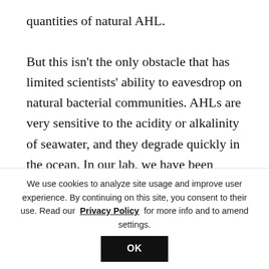quantities of natural AHL.

But this isn't the only obstacle that has limited scientists' ability to eavesdrop on natural bacterial communities. AHLs are very sensitive to the acidity or alkalinity of seawater, and they degrade quickly in the ocean. In our lab, we have been measuring how quickly; it turns out that, on average, each AHL molecule self-destructs in just a few hours. So we have to make our measurements soon after we collect our samples
We use cookies to analyze site usage and improve user experience. By continuing on this site, you consent to their use. Read our Privacy Policy for more info and to amend settings.
OK